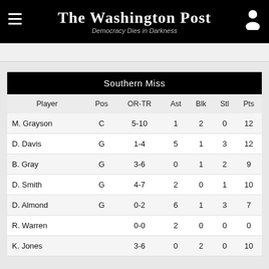The Washington Post — Democracy Dies in Darkness
| Player | Pos | OR-TR | Ast | Blk | Stl | Pts |
| --- | --- | --- | --- | --- | --- | --- |
| M. Grayson | C | 5-10 | 1 | 2 | 0 | 12 |
| D. Davis | G | 1-4 | 5 | 1 | 3 | 12 |
| B. Gray | G | 3-6 | 0 | 1 | 2 | 9 |
| D. Smith | G | 4-7 | 2 | 0 | 1 | 10 |
| D. Almond | G | 0-2 | 6 | 1 | 3 | 7 |
| R. Warren |  | 0-0 | 2 | 0 | 0 | 0 |
| K. Jones |  | 3-6 | 0 | 2 | 0 | 10 |